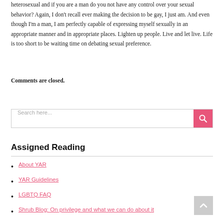heterosexual and if you are a man do you not have any control over your sexual behavior? Again, I don't recall ever making the decision to be gay, I just am. And even though I'm a man, I am perfectly capable of expressing myself sexually in an appropriate manner and in appropriate places. Lighten up people. Live and let live. Life is too short to be waiting time on debating sexual preference.
Comments are closed.
Search here...
Assigned Reading
About YAR
YAR Guidelines
LGBTQ FAQ
Shrub Blog: On privilege and what we can do about it